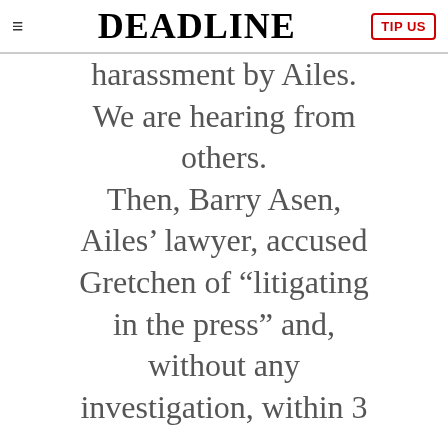DEADLINE | TIP US
harassment by Ailes. We are hearing from others. Then, Barry Asen, Ailes' lawyer, accused Gretchen of “litigating in the press” and, without any investigation, within 3